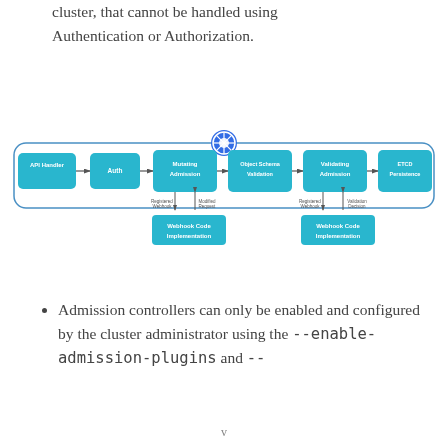cluster, that cannot be handled using Authentication or Authorization.
[Figure (flowchart): Kubernetes admission control flow diagram showing: API Handler → Auth → Mutating Admission → Object Schema Validation → Validating Admission → ETCD Persistence, with Webhook Code Implementation boxes below Mutating Admission (receiving Registered Webhook and sending Modified Request) and below Validating Admission (receiving Registered Webhook and sending Validation Decision). A Kubernetes logo sits at the top center.]
Admission controllers can only be enabled and configured by the cluster administrator using the --enable-admission-plugins and --